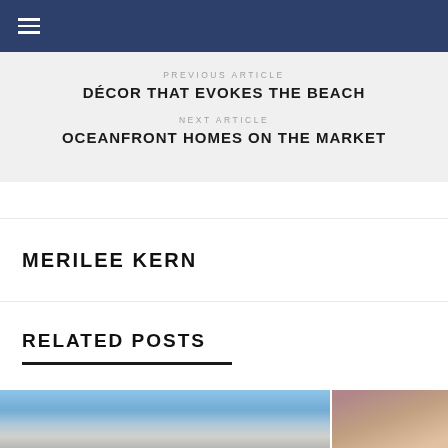≡
PREVIOUS ARTICLE
DÉCOR THAT EVOKES THE BEACH
NEXT ARTICLE
OCEANFRONT HOMES ON THE MARKET
MERILEE KERN
RELATED POSTS
[Figure (photo): Photo of oceanfront/coastal home with blue sky background]
[Figure (photo): Photo of a woman's face, close-up portrait]